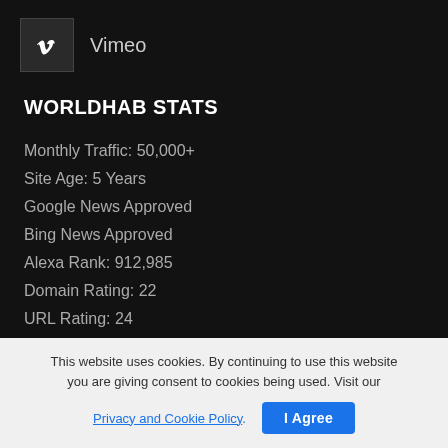Vimeo
WORLDHAB STATS
Monthly Traffic: 50,000+
Site Age: 5 Years
Google News Approved
Bing News Approved
Alexa Rank: 912,985
Domain Rating: 22
URL Rating: 24
Domain Authority: 33
Page Authority: 38
CONTACT
This website uses cookies. By continuing to use this website you are giving consent to cookies being used. Visit our Privacy and Cookie Policy. | I Agree